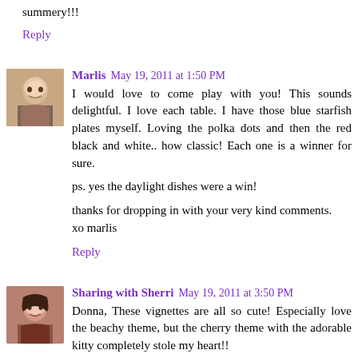summery!!!
Reply
Marlis  May 19, 2011 at 1:50 PM
I would love to come play with you! This sounds delightful. I love each table. I have those blue starfish plates myself. Loving the polka dots and then the red black and white.. how classic! Each one is a winner for sure.

ps. yes the daylight dishes were a win!

thanks for dropping in with your very kind comments.
xo marlis
Reply
Sharing with Sherri  May 19, 2011 at 3:50 PM
Donna, These vignettes are all so cute! Especially love the beachy theme, but the cherry theme with the adorable kitty completely stole my heart!!